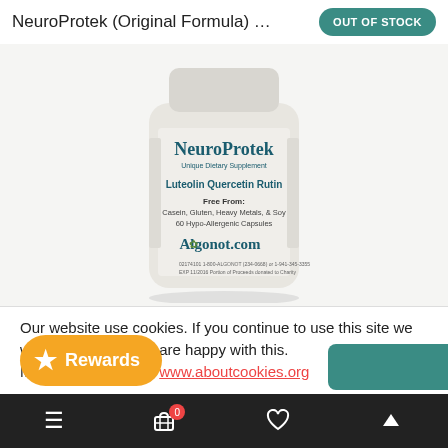NeuroProtek (Original Formula) 60 …
[Figure (photo): White supplement bottle labeled NeuroProtek Unique Dietary Supplement, featuring Luteolin Quercetin Rutin, Free From: Casein, Gluten, Heavy Metals, & Soy, 60 Hypo-Allergenic Capsules, Algonot.com]
Our website use cookies. If you continue to use this site we will assume that you are happy with this. More about cookies: www.aboutcookies.org